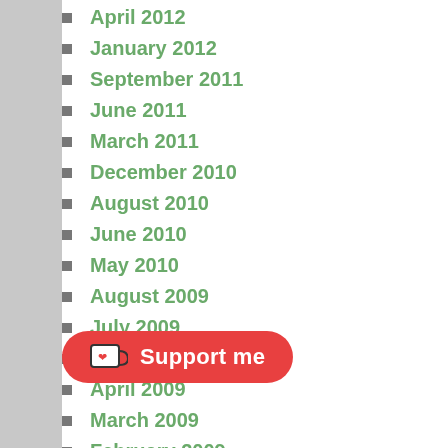April 2012
January 2012
September 2011
June 2011
March 2011
December 2010
August 2010
June 2010
May 2010
August 2009
July 2009
May 2009
April 2009
March 2009
February 2009
January 2009
December 2008
November 2008
September 2008
April 2008